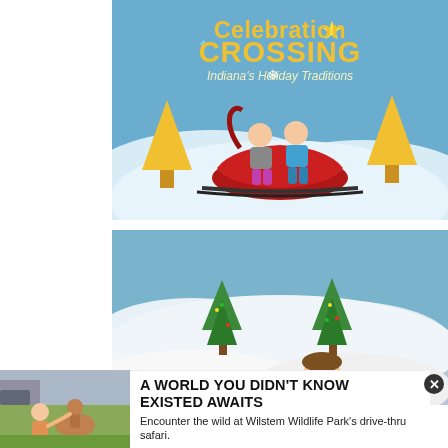[Figure (photo): Two children sitting in a red sleigh/sled in front of a 'Celebration Crossing – Indiana's Holiday Traditions' holiday display backdrop with yellow trees, blue background, stars and snowflakes.]
[Figure (photo): Indoor holiday display scene with snowy white hills, decorated Christmas trees, a child looking up in awe at the display.]
[Figure (photo): A child reaching out to a young deer/fawn in a grassy outdoor area. Wilstem Wildlife Park advertisement image.]
A WORLD YOU DIDN'T KNOW EXISTED AWAITS
Encounter the wild at Wilstem Wildlife Park's drive-thru safari.